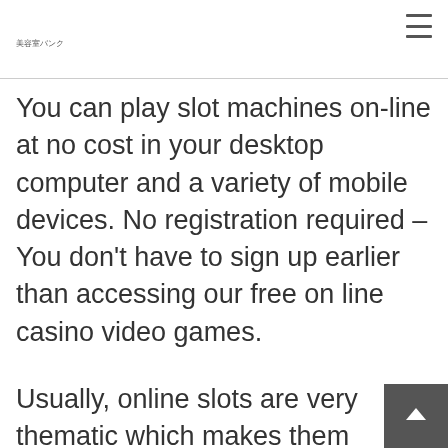美容室バンク
You can play slot machines on-line at no cost in your desktop computer and a variety of mobile devices. No registration required – You don't have to sign up earlier than accessing our free on line casino video games.
Usually, online slots are very thematic which makes them relevant and interesting to different demographics, ages, cultures, and pursuits inside a